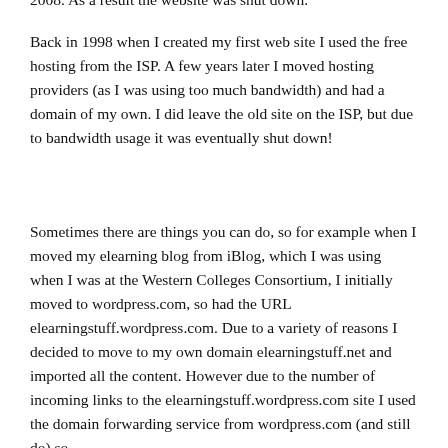2008. As a result the website was shut down.
Back in 1998 when I created my first web site I used the free hosting from the ISP. A few years later I moved hosting providers (as I was using too much bandwidth) and had a domain of my own. I did leave the old site on the ISP, but due to bandwidth usage it was eventually shut down!
Sometimes there are things you can do, so for example when I moved my elearning blog from iBlog, which I was using when I was at the Western Colleges Consortium, I initially moved to wordpress.com, so had the URL elearningstuff.wordpress.com. Due to a variety of reasons I decided to move to my own domain elearningstuff.net and imported all the content. However due to the number of incoming links to the elearningstuff.wordpress.com site I used the domain forwarding service from wordpress.com (and still do) so